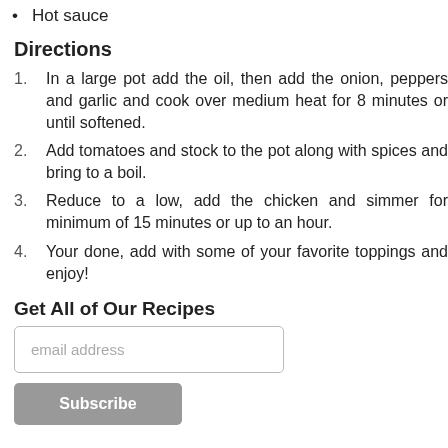Hot sauce
Directions
In a large pot add the oil, then add the onion, peppers and garlic and cook over medium heat for 8 minutes or until softened.
Add tomatoes and stock to the pot along with spices and bring to a boil.
Reduce to a low, add the chicken and simmer for minimum of 15 minutes or up to an hour.
Your done, add with some of your favorite toppings and enjoy!
Get All of Our Recipes
email address
Subscribe